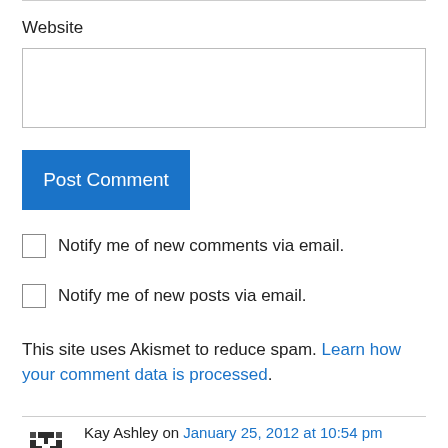Website
Post Comment
Notify me of new comments via email.
Notify me of new posts via email.
This site uses Akismet to reduce spam. Learn how your comment data is processed.
Kay Ashley on January 25, 2012 at 10:54 pm
Had my first post diagnosis check up this morning (6 month) and all is clear. I'm officially